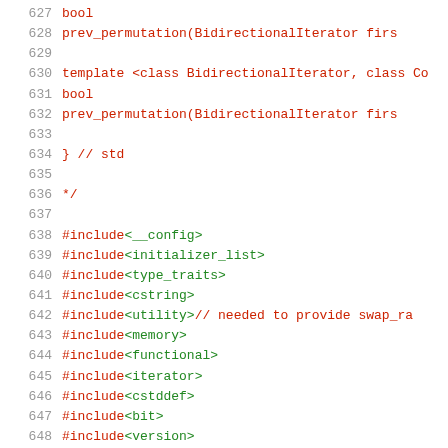627     bool
628     prev_permutation(BidirectionalIterator firs
629
630 template <class BidirectionalIterator, class Co
631     bool
632     prev_permutation(BidirectionalIterator firs
633
634 }  // std
635
636 */
637
638 #include <__config>
639 #include <initializer_list>
640 #include <type_traits>
641 #include <cstring>
642 #include <utility> // needed to provide swap_ra
643 #include <memory>
644 #include <functional>
645 #include <iterator>
646 #include <cstddef>
647 #include <bit>
648 #include <version>